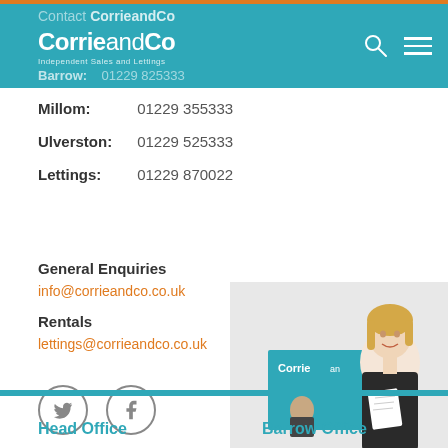Contact CorrieandCo — CorreieandCo Independent Sales and Lettings — Barrow: 01229 825333
Millom: 01229 355333
Ulverston: 01229 525333
Lettings: 01229 870022
General Enquiries
info@corrieandco.co.uk
Rentals
lettings@corrieandco.co.uk
[Figure (illustration): Twitter and Facebook social media circular icon buttons]
[Figure (photo): Photo of a smiling blonde woman in a black blazer holding property documents, standing in front of a CorreieandCo branded office backdrop]
Head Office    Barrow Office